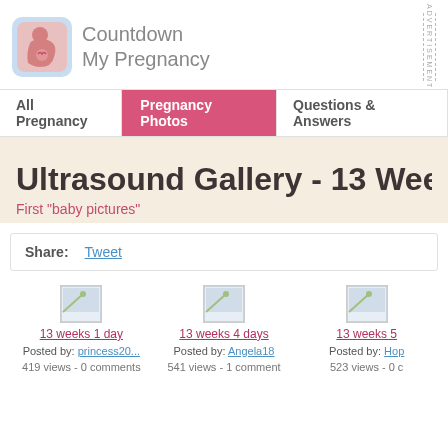[Figure (logo): Countdown My Pregnancy logo with pregnant woman silhouette icon and text]
ADVERTISEMENT
All Pregnancy | Pregnancy Photos | Questions & Answers
Ultrasound Gallery - 13 Weeks P
First "baby pictures"
Share: Tweet
13 weeks 1 day
Posted by: princess20...
419 views - 0 comments
13 weeks 4 days
Posted by: Angela18
541 views - 1 comment
13 weeks 5
Posted by: Hop
523 views - 0 c